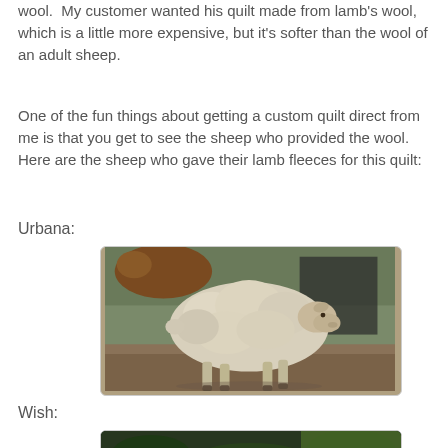wool.  My customer wanted his quilt made from lamb's wool, which is a little more expensive, but it's softer than the wool of an adult sheep.
One of the fun things about getting a custom quilt direct from me is that you get to see the sheep who provided the wool. Here are the sheep who gave their lamb fleeces for this quilt:
Urbana:
[Figure (photo): A white woolly sheep (Urbana) walking in a dirt yard, photographed from the side. A brown animal is partially visible in the background.]
Wish:
[Figure (photo): Partial photo of a sheep (Wish) in a dark outdoor setting, mostly obscured by the page crop.]